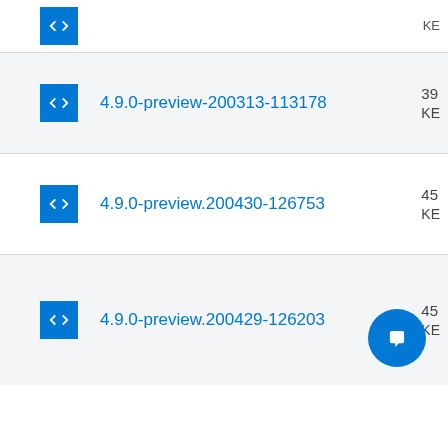4.9.0-preview-200313-113178
4.9.0-preview.200430-126753
4.9.0-preview.200429-126203